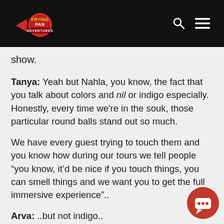Frying Pan Adventures
show.
Tanya: Yeah but Nahla, you know, the fact that you talk about colors and nil or indigo especially. Honestly, every time we're in the souk, those particular round balls stand out so much.
We have every guest trying to touch them and you know how during our tours we tell people “you know, it’d be nice if you touch things, you can smell things and we want you to get the full immersive experience”..
Arva: ..but not indigo..